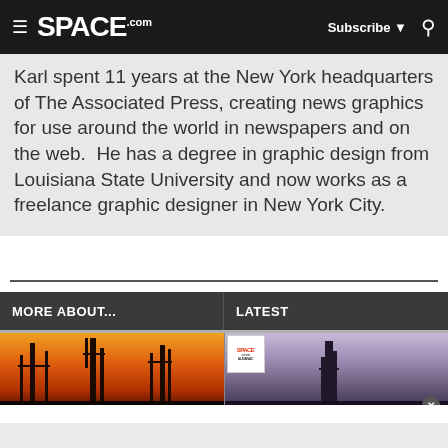SPACE.com — Subscribe | Search
Karl spent 11 years at the New York headquarters of The Associated Press, creating news graphics for use around the world in newspapers and on the web.  He has a degree in graphic design from Louisiana State University and now works as a freelance graphic designer in New York City.
MORE ABOUT...
LATEST
[Figure (photo): Orange sunset silhouette of launch structures/towers against an orange and red sky]
[Figure (photo): Purple and pink twilight sky with launch structures/rocket, Space.com badge overlay in top left]